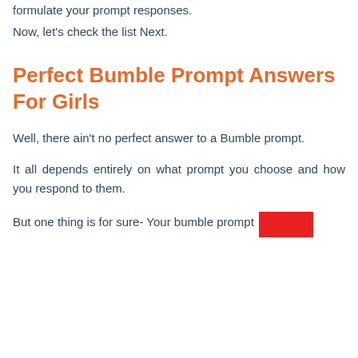formulate your prompt responses.
Now, let’s check the list Next.
Perfect Bumble Prompt Answers For Girls
Well, there ain’t no perfect answer to a Bumble prompt.
It all depends entirely on what prompt you choose and how you respond to them.
But one thing is for sure- Your bumble prompt [redacted]